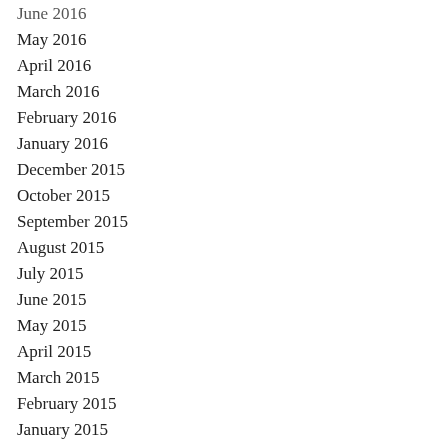June 2016
May 2016
April 2016
March 2016
February 2016
January 2016
December 2015
October 2015
September 2015
August 2015
July 2015
June 2015
May 2015
April 2015
March 2015
February 2015
January 2015
December 2014
November 2014
October 2014